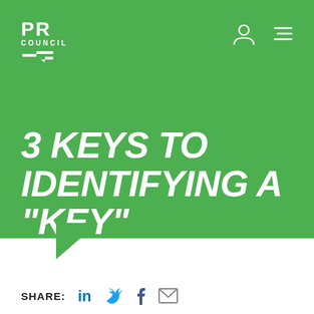[Figure (logo): PR Council logo in white on green background]
3 KEYS TO IDENTIFYING A "KEY" EMPLOYEE
SHARE: